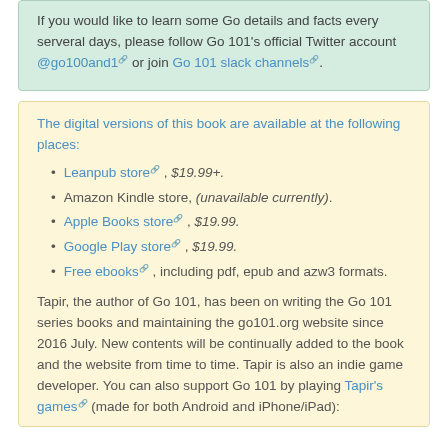If you would like to learn some Go details and facts every serveral days, please follow Go 101's official Twitter account @go100and1 or join Go 101 slack channels.
The digital versions of this book are available at the following places:
Leanpub store, $19.99+.
Amazon Kindle store, (unavailable currently).
Apple Books store, $19.99.
Google Play store, $19.99.
Free ebooks, including pdf, epub and azw3 formats.
Tapir, the author of Go 101, has been on writing the Go 101 series books and maintaining the go101.org website since 2016 July. New contents will be continually added to the book and the website from time to time. Tapir is also an indie game developer. You can also support Go 101 by playing Tapir's games (made for both Android and iPhone/iPad):